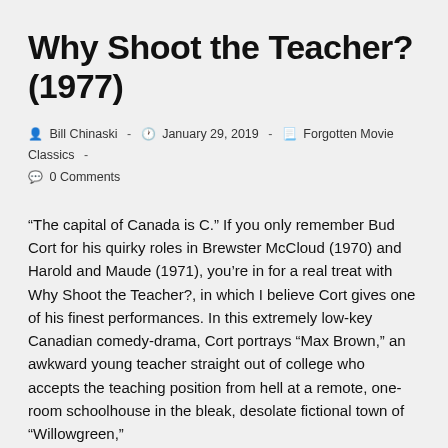Why Shoot the Teacher? (1977)
Post author: Bill Chinaski  -  Post date: January 29, 2019  -  Post category: Forgotten Movie Classics  -  Post comments: 0 Comments
“The capital of Canada is C.” If you only remember Bud Cort for his quirky roles in Brewster McCloud (1970) and Harold and Maude (1971), you’re in for a real treat with Why Shoot the Teacher?, in which I believe Cort gives one of his finest performances. In this extremely low-key Canadian comedy-drama, Cort portrays “Max Brown,” an awkward young teacher straight out of college who accepts the teaching position from hell at a remote, one-room schoolhouse in the bleak, desolate fictional town of “Willowgreen,” Saskatchewan, during the Great Depression. A total outsider